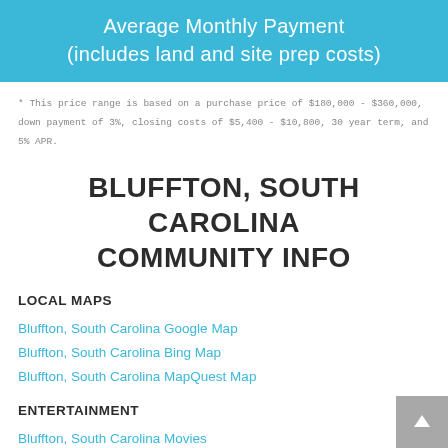Average Monthly Payment
(includes land and site prep costs)
* This price range is based on a purchase price of $180,000 - $360,000, down payment of 3%, closing costs of $5,400 - $10,800, 30 year term, and 5% APR.
BLUFFTON, SOUTH CAROLINA COMMUNITY INFO
LOCAL MAPS
Bluffton, South Carolina Google Map
Bluffton, South Carolina Bing Map
Bluffton, South Carolina MapQuest Map
ENTERTAINMENT
Bluffton, South Carolina Movies
Bluffton, South Carolina TV Listings